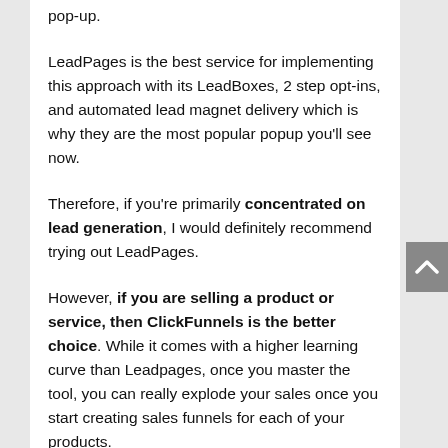pop-up.
LeadPages is the best service for implementing this approach with its LeadBoxes, 2 step opt-ins, and automated lead magnet delivery which is why they are the most popular popup you'll see now.
Therefore, if you're primarily concentrated on lead generation, I would definitely recommend trying out LeadPages.
However, if you are selling a product or service, then ClickFunnels is the better choice. While it comes with a higher learning curve than Leadpages, once you master the tool, you can really explode your sales once you start creating sales funnels for each of your products.
But, if you're selling a service or product, then